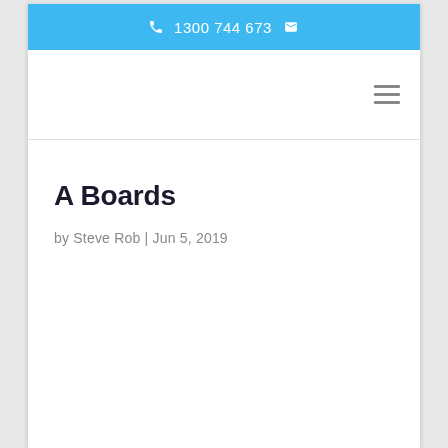1300 744 673
A Boards
by Steve Rob  | Jun 5, 2019